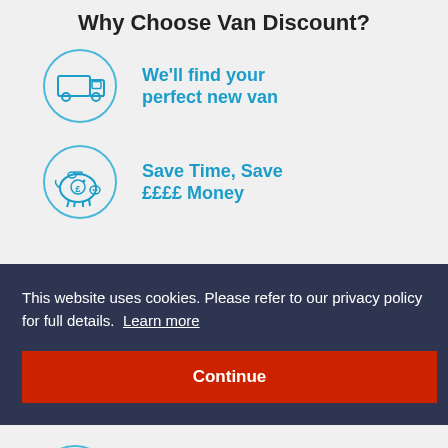Why Choose Van Discount?
We'll find your perfect new van
Save Time, Save ££££ Money
This website uses cookies. Please refer to our privacy policy for full details. Learn more
Continue